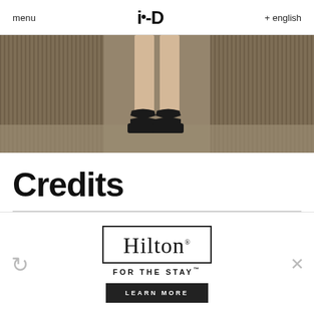menu  i-D  + english
[Figure (photo): Close-up of a person's legs and feet wearing black strappy platform sandals, standing in what appears to be an elevator or mirrored space with vertical lines.]
Credits
[Figure (other): Advertisement: Hilton FOR THE STAY with a LEARN MORE button. Refresh icon on left, close (X) icon on right.]